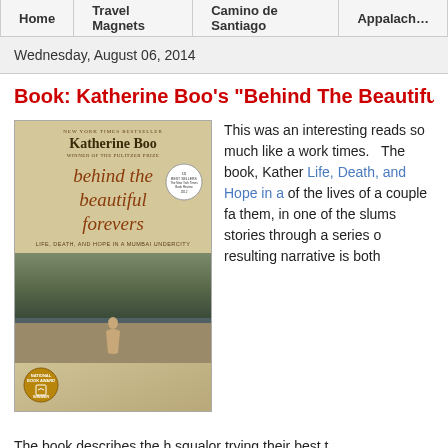Home | Travel Magnets | Camino de Santiago | Appalach…
Wednesday, August 06, 2014
Book: Katherine Boo's "Behind The Beautiful Fo…
[Figure (photo): Book cover of 'Behind the Beautiful Forevers' by Katherine Boo — New York Times Bestseller, Winner of the Pulitzer Prize. Shows woman sitting in a slum landscape. National Book Award Winner badge on lower left.]
This was an interesting reads so much like a work times.   The book, Kather Life, Death, and Hope in a of the lives of a couple fa them, in one of the slums stories through a series o resulting narrative is both
The book describes the h squalor trying their best t